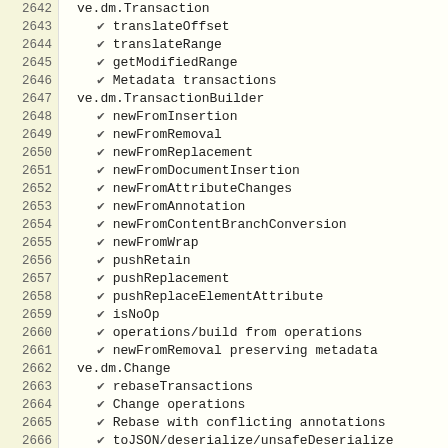2642  ve.dm.Transaction
2643    ✔ translateOffset
2644    ✔ translateRange
2645    ✔ getModifiedRange
2646    ✔ Metadata transactions
2647  ve.dm.TransactionBuilder
2648    ✔ newFromInsertion
2649    ✔ newFromRemoval
2650    ✔ newFromReplacement
2651    ✔ newFromDocumentInsertion
2652    ✔ newFromAttributeChanges
2653    ✔ newFromAnnotation
2654    ✔ newFromContentBranchConversion
2655    ✔ newFromWrap
2656    ✔ pushRetain
2657    ✔ pushReplacement
2658    ✔ pushReplaceElementAttribute
2659    ✔ isNoOp
2660    ✔ operations/build from operations
2661    ✔ newFromRemoval preserving metadata
2662  ve.dm.Change
2663    ✔ rebaseTransactions
2664    ✔ Change operations
2665    ✔ Rebase with conflicting annotations
2666    ✔ toJSON/deserialize/unsafeDeserialize